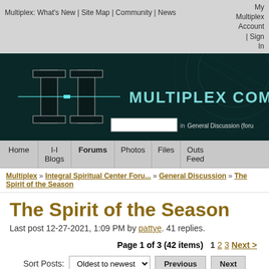Multiplex: What's New | Site Map | Community | News    My Multiplex Account | Sign In
[Figure (screenshot): Multiplex Community forum banner with teal/dark background, I-I logo on left, 'MULTIPLEX COMMU' text on right, search bar at bottom]
Home | I-I Blogs | Forums | Photos | Files | Outside Feed
Multiplex » Integral Spiritual Center Foru... » General Discussion » The Spirit of the Season
The Spirit of the Season
Last post 12-27-2021, 1:09 PM by pattye. 41 replies.
Page 1 of 3 (42 items)  1 2 3 Next >
Sort Posts: Oldest to newest   Previous  Next
12-08-2021, 6:40 PM   16159